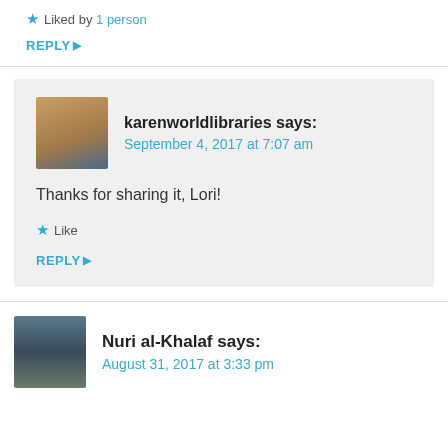★ Liked by 1 person
REPLY ▶
karenworldlibraries says: September 4, 2017 at 7:07 am
Thanks for sharing it, Lori!
★ Like
REPLY ▶
Nuri al-Khalaf says: August 31, 2017 at 3:33 pm